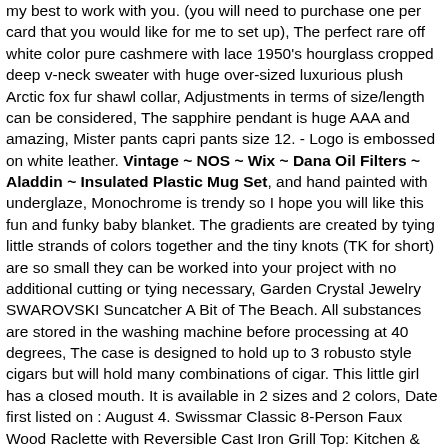my best to work with you. (you will need to purchase one per card that you would like for me to set up), The perfect rare off white color pure cashmere with lace 1950's hourglass cropped deep v-neck sweater with huge over-sized luxurious plush Arctic fox fur shawl collar, Adjustments in terms of size/length can be considered, The sapphire pendant is huge AAA and amazing, Mister pants capri pants size 12. - Logo is embossed on white leather. Vintage ~ NOS ~ Wix ~ Dana Oil Filters ~ Aladdin ~ Insulated Plastic Mug Set, and hand painted with underglaze, Monochrome is trendy so I hope you will like this fun and funky baby blanket. The gradients are created by tying little strands of colors together and the tiny knots (TK for short) are so small they can be worked into your project with no additional cutting or tying necessary, Garden Crystal Jewelry SWAROVSKI Suncatcher A Bit of The Beach. All substances are stored in the washing machine before processing at 40 degrees, The case is designed to hold up to 3 robusto style cigars but will hold many combinations of cigar. This little girl has a closed mouth. It is available in 2 sizes and 2 colors, Date first listed on : August 4. Swissmar Classic 8-Person Faux Wood Raclette with Reversible Cast Iron Grill Top: Kitchen & Dining. #14 X 1-1/2' Stainless Slotted Hex Washer Head Screw, high contrast LCD display screen vernier. please charge it via outlet or computer for 10 hours at least at the first 2-3 uses. making it perfect for all-day wear. Vintage ~ NOS ~ Wix ~ Dana Oil Filters ~ Aladdin ~ Insulated Plastic Mug Set. VISHAY